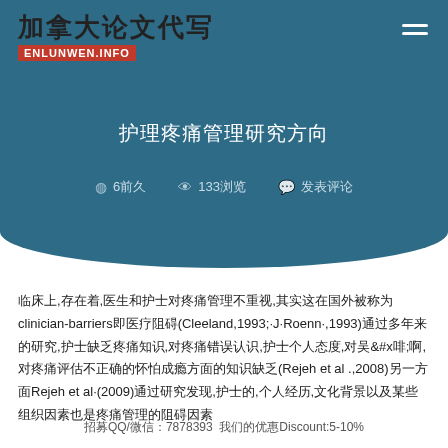[Figure (logo): 加拿大论文代写 logo with Chinese characters and ENLUNWEN.INFO text on red background]
护理疼痛管理研究方向
6前    133浏览    发表评论
临床上,存在着,医生和护士对疼痛管理不重视,其实这在国外被称为clinician-barriers即医疗阻碍(Cleeland,1993;·J·Roenn·,1993)通过多年来的研究,护士缺乏疼痛知识,对疼痛错误认识,护士个人态度,对吗啡,对疼痛评估不正确的害怕成瘾方面的知识缺乏(Rejeh et al .,2008)另一方面Rejeh et al·(2009)通过研究发现,护士的,个人经历,文化背景以及某些组织因素也是疼痛管理的阻碍因素
招募QQ/微信：7878393  我们的优惠Discount:5-10%